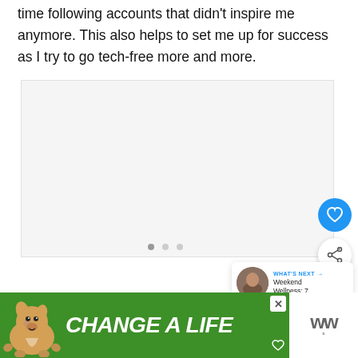time following accounts that didn't inspire me anymore. This also helps to set me up for success as I try to go tech-free more and more.
[Figure (photo): Image placeholder with light gray background, part of a media carousel with dot navigation indicators]
[Figure (infographic): Advertisement banner: green background with dog illustration and text 'CHANGE A LIFE' with close button and heart icon. Adjacent logo area with 'ww' branding.]